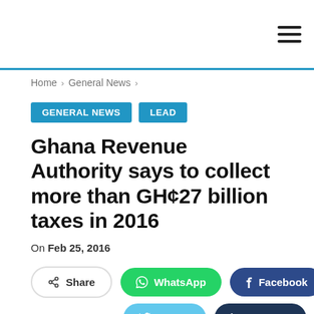Home > General News >
GENERAL NEWS   LEAD
Ghana Revenue Authority says to collect more than GH¢27 billion taxes in 2016
On Feb 25, 2016
Share   WhatsApp   Facebook   Twitter   Linkedin   Email